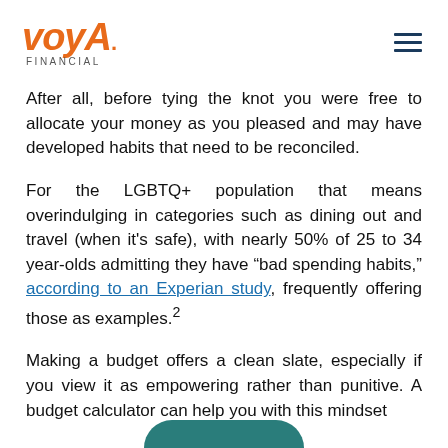Voya Financial
After all, before tying the knot you were free to allocate your money as you pleased and may have developed habits that need to be reconciled.
For the LGBTQ+ population that means overindulging in categories such as dining out and travel (when it’s safe), with nearly 50% of 25 to 34 year-olds admitting they have “bad spending habits,” according to an Experian study, frequently offering those as examples.²
Making a budget offers a clean slate, especially if you view it as empowering rather than punitive. A budget calculator can help you with this mindset